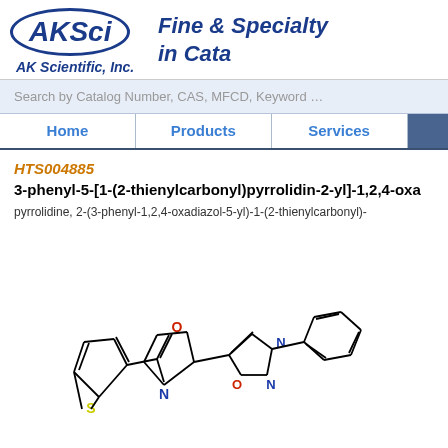[Figure (logo): AKSci logo with oval border and AK Scientific, Inc. text]
Fine & Specialty in Cata
Search by Catalog Number, CAS, MFCD, Keyword …
Home | Products | Services
HTS004885
3-phenyl-5-[1-(2-thienylcarbonyl)pyrrolidin-2-yl]-1,2,4-oxa
pyrrolidine, 2-(3-phenyl-1,2,4-oxadiazol-5-yl)-1-(2-thienylcarbonyl)-
[Figure (illustration): Chemical structure diagram of 3-phenyl-5-[1-(2-thienylcarbonyl)pyrrolidin-2-yl]-1,2,4-oxadiazole showing pyrrolidine ring connected to oxadiazole ring with phenyl group and thienylcarbonyl group with sulfur atom]